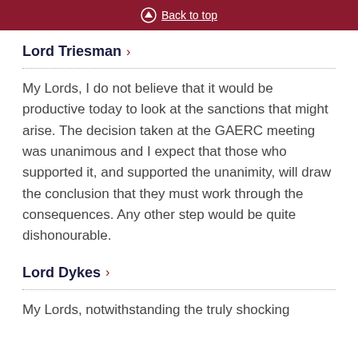Back to top
Lord Triesman >
My Lords, I do not believe that it would be productive today to look at the sanctions that might arise. The decision taken at the GAERC meeting was unanimous and I expect that those who supported it, and supported the unanimity, will draw the conclusion that they must work through the consequences. Any other step would be quite dishonourable.
Lord Dykes >
My Lords, notwithstanding the truly shocking